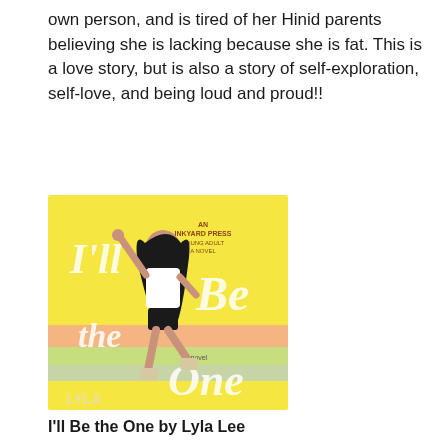own person, and is tired of her Hinid parents believing she is lacking because she is fat. This is a love story, but is also a story of self-exploration, self-love, and being loud and proud!!
[Figure (photo): Book cover of 'I'll Be the One' by Lyla Lee. Yellow background with pastel stripes. A young woman with long dark hair wearing a white t-shirt and black leather shorts is posing energetically with one arm raised. The title 'I'll Be the One' is written in cursive/script lettering, and the author name 'Lyla Lee' appears at the bottom left.]
I'll Be the One by Lyla Lee